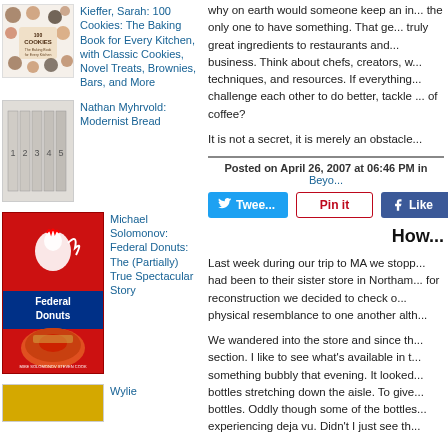[Figure (illustration): Book cover: 100 Cookies by Sarah Kieffer, showing various cookies on a dark cover]
Kieffer, Sarah: 100 Cookies: The Baking Book for Every Kitchen, with Classic Cookies, Novel Treats, Brownies, Bars, and More
[Figure (illustration): Book cover: Modernist Bread by Nathan Myhrvold, showing a set of white volumes numbered 1-5]
Nathan Myhrvold: Modernist Bread
why on earth would someone keep an i... the only one to have something. That ge... truly great ingredients to restaurants and... business. Think about chefs, creators, w... techniques, and resources. If everything... challenge each other to do better, tackle ... of coffee?
It is not a secret, it is merely an obstacle...
Posted on April 26, 2007 at 06:46 PM in Beyo...
Tweet | Pin it | Like
How...
Last week during our trip to MA we stopp... had been to their sister store in Northam... for reconstruction we decided to check o... physical resemblance to one another alth...
We wandered into the store and since th... section. I like to see what's available in t... something bubbly that evening. It looked... bottles stretching down the aisle. To give... bottles. Oddly though some of the bottles... experiencing deja vu. Didn't I just see th...
[Figure (illustration): Book cover: Federal Donuts by Michael Solomonov and Steven Cook, red cover with rooster illustration and large donut]
Michael Solomonov: Federal Donuts: The (Partially) True Spectacular Story
[Figure (illustration): Book cover partially visible at bottom, yellow cover - Wylie]
Wylie